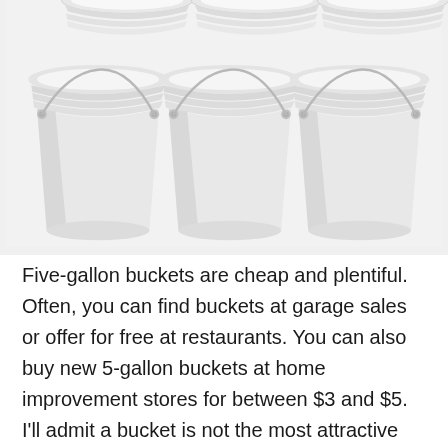[Figure (photo): Six white 5-gallon plastic buckets with metal handles arranged in two rows of three against a white/light gray background. The top row shows partial buckets (cropped at the top of the image). The bottom row shows three complete white buckets with wire bail handles.]
Five-gallon buckets are cheap and plentiful. Often, you can find buckets at garage sales or offer for free at restaurants. You can also buy new 5-gallon buckets at home improvement stores for between $3 and $5. I'll admit a bucket is not the most attractive gardening container, but compared to prices of $10 and up for decorative 5-gallon planters, a bucket is an excellent